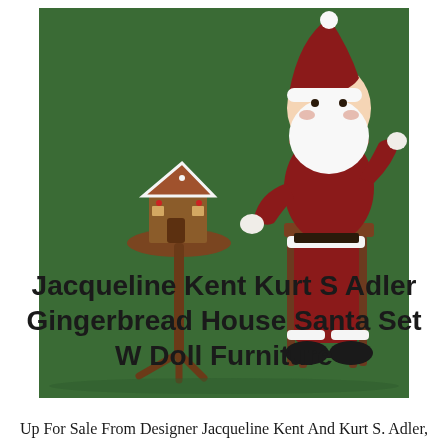[Figure (photo): Santa Claus doll figure seated on a wooden chair next to a small round wooden table with a miniature gingerbread house on top, against a dark green background.]
Jacqueline Kent Kurt S Adler Gingerbread House Santa Set W Doll Furniture
Up For Sale From Designer Jacqueline Kent And Kurt S. Adler,